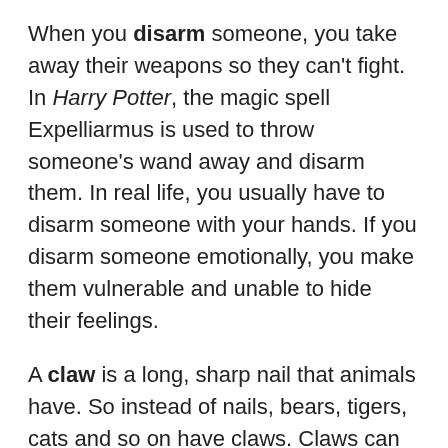When you disarm someone, you take away their weapons so they can't fight. In Harry Potter, the magic spell Expelliarmus is used to throw someone's wand away and disarm them. In real life, you usually have to disarm someone with your hands. If you disarm someone emotionally, you make them vulnerable and unable to hide their feelings.
A claw is a long, sharp nail that animals have. So instead of nails, bears, tigers, cats and so on have claws. Claws can really hurt you!
Dignity is the ability to have honour and respect, especially when you have good style and are very polite. Usually, dignity is something that is in danger, that you can lose. For example, if you trip up and fall down in front of everyone in your school, landing in your lunch and getting food all over your clothes, you will probably not have dignity again for a